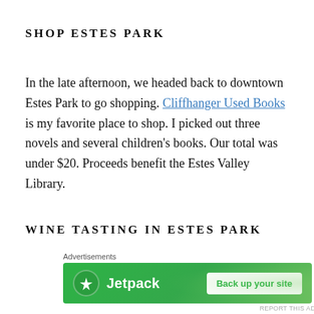SHOP ESTES PARK
In the late afternoon, we headed back to downtown Estes Park to go shopping. Cliffhanger Used Books is my favorite place to shop. I picked out three novels and several children's books. Our total was under $20. Proceeds benefit the Estes Valley Library.
WINE TASTING IN ESTES PARK
[Figure (other): Jetpack advertisement banner with green background, Jetpack logo on left, and 'Back up your site' button on right. Labeled 'Advertisements' above.]